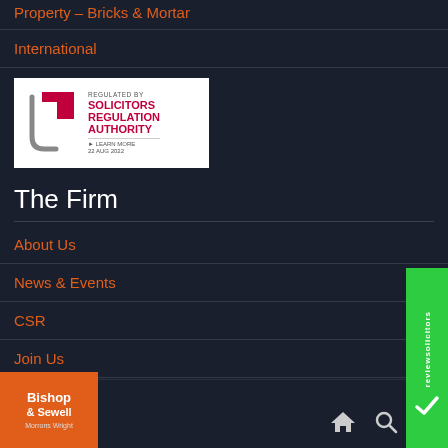Property – Bricks & Mortar
International
[Figure (logo): Solicitors Regulation Authority badge — REGULATED BY SOLICITORS REGULATION AUTHORITY ▶ LEARN MORE 22 AUG 2022]
The Firm
About Us
News & Events
CSR
Join Us
Contact Us
Staff Login Area
[Figure (logo): reviewsolicitors green badge on right side]
[Figure (logo): Bishop & Sewell / Morrons Wright logo in bottom left corner]